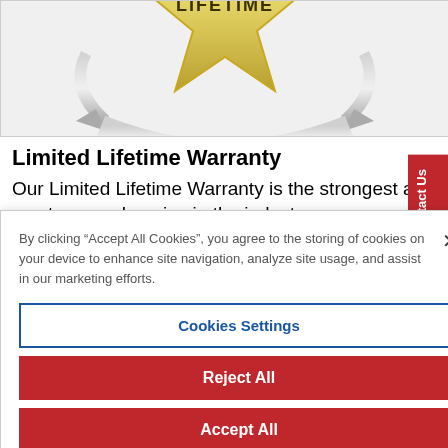[Figure (logo): Partial view of a Limited Lifetime Warranty badge — gold star-shaped emblem with silver circular arrows, cropped at top]
Limited Lifetime Warranty
Our Limited Lifetime Warranty is the strongest and most comprehensive in the industry.
By clicking “Accept All Cookies”, you agree to the storing of cookies on your device to enhance site navigation, analyze site usage, and assist in our marketing efforts.
Cookies Settings
Reject All
Accept All